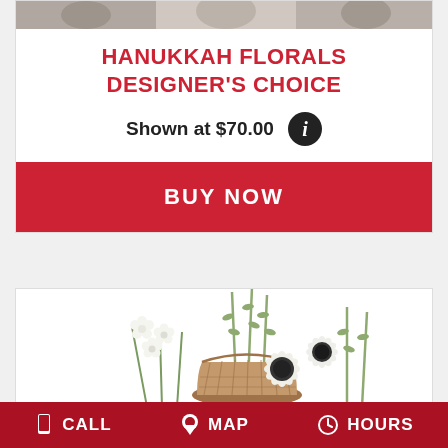[Figure (photo): Top portion of a floral product card showing a cropped photo strip at the top]
HANUKKAH FLORALS DESIGNER'S CHOICE
Shown at $70.00
BUY NOW
[Figure (photo): White flowers including gerbera daisies and small white blooms in a wicker basket with greenery]
CALL  MAP  HOURS